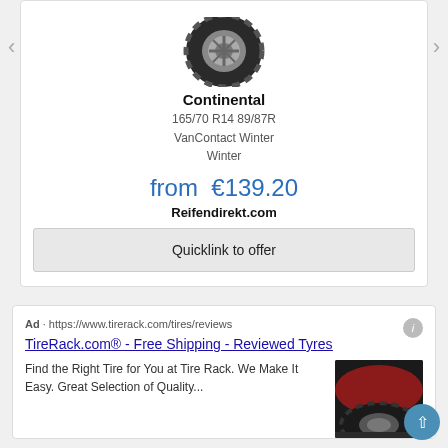[Figure (photo): Continental tire product image shown from front angle]
Continental
165/70 R14 89/87R
VanContact Winter
Winter
from €139.20
Reifendirekt.com
Quicklink to offer
Ad · https://www.tirerack.com/tires/reviews
TireRack.com® - Free Shipping - Reviewed Tyres
Find the Right Tire for You at Tire Rack. We Make It Easy. Great Selection of Quality...
[Figure (photo): Close-up of a red car tire on road surface]